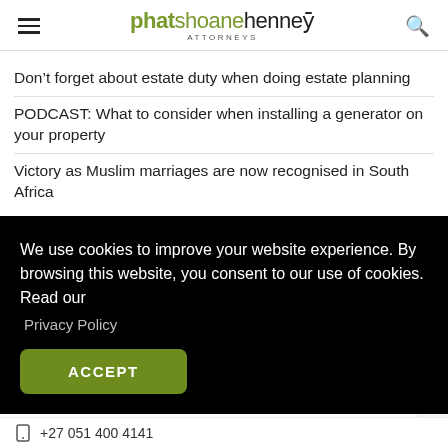phatshoanehenney ATTORNEYS
Don’t forget about estate duty when doing estate planning
PODCAST: What to consider when installing a generator on your property
Victory as Muslim marriages are now recognised in South Africa
We use cookies to improve your website experience. By browsing this website, you consent to our use of cookies. Read our Privacy Policy
ACCEPT
+27 051 400 4141